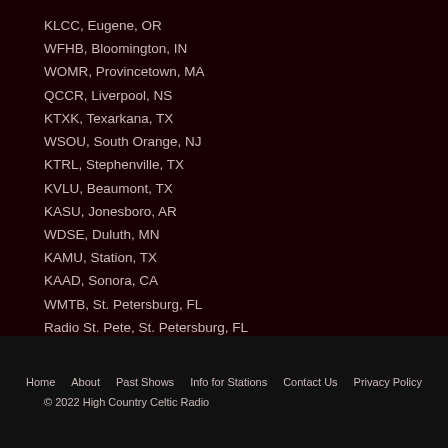KLCC, Eugene, OR
WFHB, Bloomington, IN
WOMR, Provincetown, MA
QCCR, Liverpool, NS
KTXK, Texarkana, TX
WSOU, South Orange, NJ
KTRL, Stephenville, TX
KVLU, Beaumont, TX
KASU, Jonesboro, AR
WDSE, Duluth, MN
KAMU, Station, TX
KAAD, Sonora, CA
WMTB, St. Petersburg, FL
Radio St. Pete, St. Petersburg, FL
WSDL, Salisbury, MD
Home   About   Past Shows   Info for Stations   Contact Us   Privacy Policy
© 2022 High Country Celtic Radio